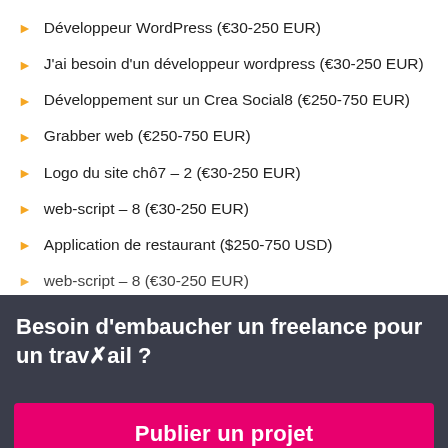Développeur WordPress (€30-250 EUR)
J'ai besoin d'un développeur wordpress (€30-250 EUR)
Développement sur un Crea Social8 (€250-750 EUR)
Grabber web (€250-750 EUR)
Logo du site chô7 – 2 (€30-250 EUR)
web-script – 8 (€30-250 EUR)
Application de restaurant ($250-750 USD)
web-script – 8 (€30-250 EUR)
Besoin d'embaucher un freelance pour un travail ?
Publier un projet